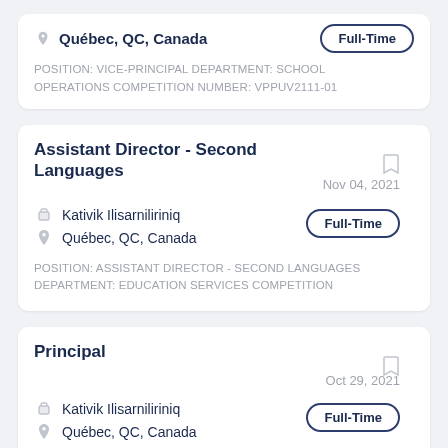Québec, QC, Canada
POSITION: VICE-PRINCIPAL DEPARTMENT: SCHOOL OPERATIONS COMPETITION NUMBER: VPPUV2111-01
Assistant Director - Second Languages
Nov 04, 2021
Kativik Ilisarniliriniq
Québec, QC, Canada
Full-Time
POSITION: ASSISTANT DIRECTOR - SECOND LANGUAGES DEPARTMENT: EDUCATION SERVICES COMPETITION
Principal
Oct 29, 2021
Kativik Ilisarniliriniq
Québec, QC, Canada
Full-Time